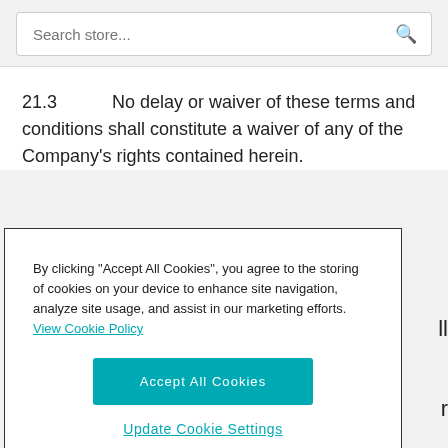[Figure (screenshot): Search bar with placeholder text 'Search store...' and a search icon on the right]
21.3	No delay or waiver of these terms and conditions shall constitute a waiver of any of the Company's rights contained herein.
[Figure (screenshot): Cookie consent banner with text: 'By clicking "Accept All Cookies", you agree to the storing of cookies on your device to enhance site navigation, analyze site usage, and assist in our marketing efforts. View Cookie Policy', an 'Accept All Cookies' button, and an 'Update Cookie Settings' link.]
22 GOVERNING LAW